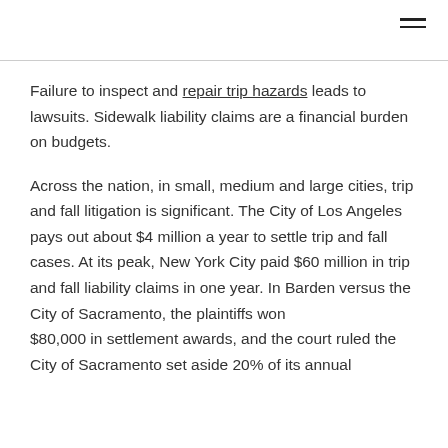Failure to inspect and repair trip hazards leads to lawsuits. Sidewalk liability claims are a financial burden on budgets.
Across the nation, in small, medium and large cities, trip and fall litigation is significant. The City of Los Angeles pays out about $4 million a year to settle trip and fall cases. At its peak, New York City paid $60 million in trip and fall liability claims in one year. In Barden versus the City of Sacramento, the plaintiffs won $80,000 in settlement awards, and the court ruled the City of Sacramento set aside 20% of its annual